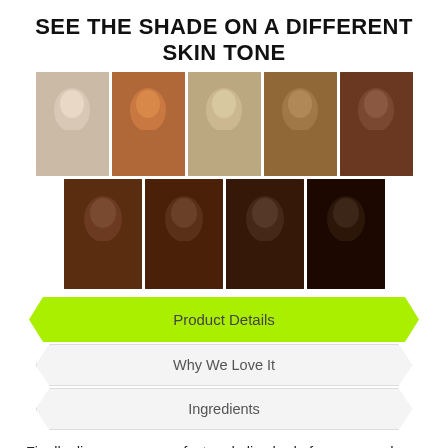SEE THE SHADE ON A DIFFERENT SKIN TONE
[Figure (photo): Nine portrait photos of models with different skin tones arranged in two rows: five in the top row and four in the bottom row, each showing the lipstick shade on a different complexion.]
Product Details
Why We Love It
Ingredients
Finally discover your perfect nude lip shade for an everyday look! Our matte lipsticks have concentrated color pigmentation and silky, velvety texture. With one simple stroke, this lightweight lip product can be easily applied to